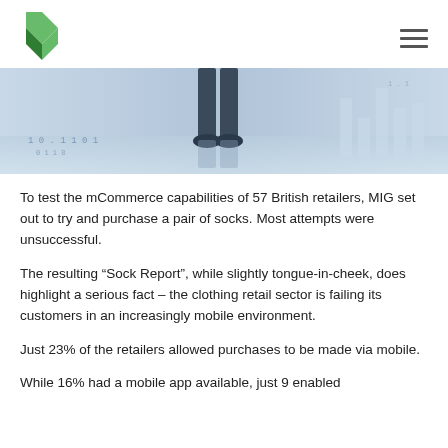MIG logo and hamburger menu
[Figure (photo): Hero image showing a person standing with feet visible, with digital data overlay and bar chart graphic in the background, blue-grey tones]
To test the mCommerce capabilities of 57 British retailers, MIG set out to try and purchase a pair of socks. Most attempts were unsuccessful.
The resulting “Sock Report”, while slightly tongue-in-cheek, does highlight a serious fact – the clothing retail sector is failing its customers in an increasingly mobile environment.
Just 23% of the retailers allowed purchases to be made via mobile.
While 16% had a mobile app available, just 9 enabled